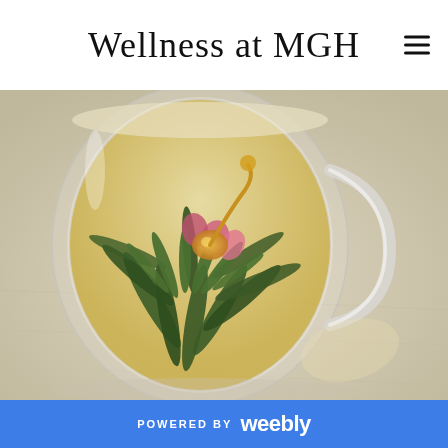Wellness at MGH
[Figure (photo): A blooming flower tea in a clear double-walled glass mug filled with golden liquid, sitting on a light linen fabric surface. The flower includes dark green tea leaves, pink petals, and yellow accents unfurling in the water.]
POWERED BY weebly